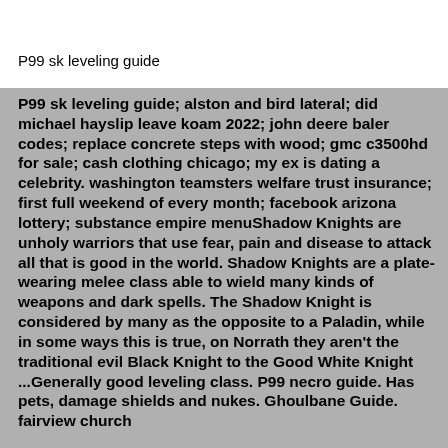P99 sk leveling guide
P99 sk leveling guide; alston and bird lateral; did michael hayslip leave koam 2022; john deere baler codes; replace concrete steps with wood; gmc c3500hd for sale; cash clothing chicago; my ex is dating a celebrity. washington teamsters welfare trust insurance; first full weekend of every month; facebook arizona lottery; substance empire menuShadow Knights are unholy warriors that use fear, pain and disease to attack all that is good in the world. Shadow Knights are a plate-wearing melee class able to wield many kinds of weapons and dark spells. The Shadow Knight is considered by many as the opposite to a Paladin, while in some ways this is true, on Norrath they aren't the traditional evil Black Knight to the Good White Knight ...Generally good leveling class. P99 necro guide. Has pets, damage shields and nukes. Ghoulbane Guide. fairview church